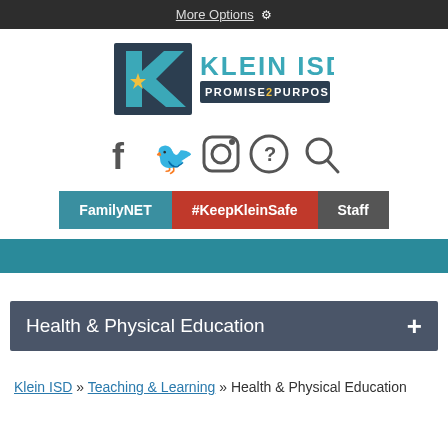More Options ⚙
[Figure (logo): Klein ISD logo with teal K, star, and text KLEIN ISD PROMISE2PURPOSE]
[Figure (infographic): Social media icons: Facebook, Twitter, Instagram, Help/Question, Search]
FamilyNET   #KeepKleinSafe   Staff
Health & Physical Education
Klein ISD » Teaching & Learning » Health & Physical Education